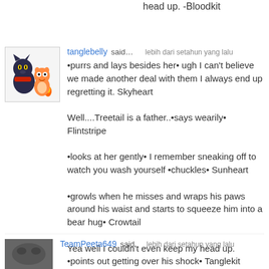head up. -Bloodkit
tanglebelly said… lebih dari setahun yang lalu •purrs and lays besides her• ugh I can't believe we made another deal with them I always end up regretting it. Skyheart

Well....Treetail is a father..•says wearily• Flintstripe

•looks at her gently• I remember sneaking off to watch you wash yourself •chuckles• Sunheart

•growls when he misses and wraps his paws around his waist and starts to squeeze him into a bear hug• Crowtail

Yea well I couldn't even keep my head up. •points out getting over his shock• Tanglekit
TeamPeeta649 said       lebih dari setahun yang lalu